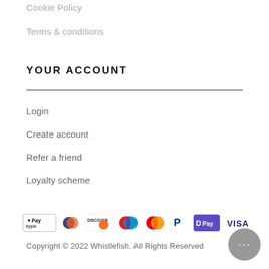Cookie Policy
Terms & conditions
YOUR ACCOUNT
Login
Create account
Refer a friend
Loyalty scheme
[Figure (other): Payment method icons: Apple Pay, Diners Club, Discover, Maestro, Mastercard, PayPal, Google Pay (DPay), Visa]
Copyright © 2022 Whistlefish. All Rights Reserved